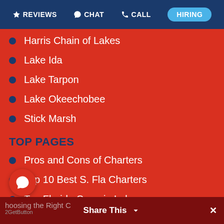REVIEWS | CHAT | CALL | HIRING
Harris Chain of Lakes
Lake Ida
Lake Tarpon
Lake Okeechobee
Stick Marsh
TOP PAGES
Pros and Cons of Charters
Top 10 Best S. Fla Charters
Top Florida Crappie Lakes
Top Everglades Charters
...shing Charter Options
2GetButton | Share This | ×